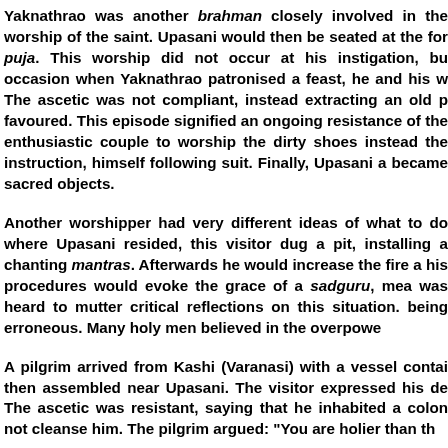Yaknathrao was another brahman closely involved in the worship of the saint. Upasani would then be seated at the for puja. This worship did not occur at his instigation, but occasion when Yaknathrao patronised a feast, he and his w The ascetic was not compliant, instead extracting an old p favoured. This episode signified an ongoing resistance of the enthusiastic couple to worship the dirty shoes instead the instruction, himself following suit. Finally, Upasani a became sacred objects.
Another worshipper had very different ideas of what to do where Upasani resided, this visitor dug a pit, installing a chanting mantras. Afterwards he would increase the fire a his procedures would evoke the grace of a sadguru, mea was heard to mutter critical reflections on this situation. being erroneous. Many holy men believed in the overpowe
A pilgrim arrived from Kashi (Varanasi) with a vessel contai then assembled near Upasani. The visitor expressed his de The ascetic was resistant, saying that he inhabited a colon not cleanse him. The pilgrim argued: "You are holier than th